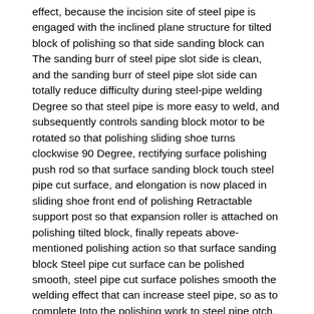effect, because the incision site of steel pipe is engaged with the inclined plane structure for tilted block of polishing so that side sanding block can The sanding burr of steel pipe slot side is clean, and the sanding burr of steel pipe slot side can totally reduce difficulty during steel-pipe welding Degree so that steel pipe is more easy to weld, and subsequently controls sanding block motor to be rotated so that polishing sliding shoe turns clockwise 90 Degree, rectifying surface polishing push rod so that surface sanding block touch steel pipe cut surface, and elongation is now placed in sliding shoe front end of polishing Retractable support post so that expansion roller is attached on polishing tilted block, finally repeats above-mentioned polishing action so that surface sanding block Steel pipe cut surface can be polished smooth, steel pipe cut surface polishes smooth the welding effect that can increase steel pipe, so as to complete Into the polishing work to steel pipe otch.
As a preferred technical solution of the present invention, described clamp device includes gripping electronic sliding block, gripping support Motor, gripping support chute, four gripping supporting sliders, gripping column, gripping